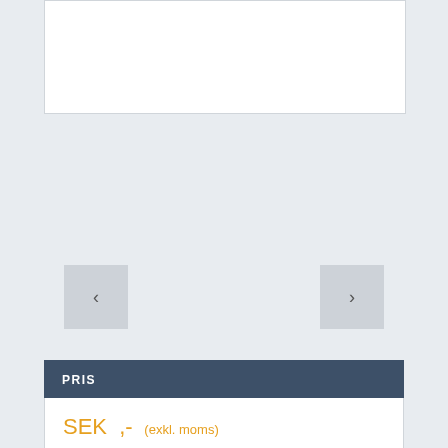[Figure (other): White image placeholder box at top of page]
[Figure (other): Left navigation arrow button (chevron left)]
[Figure (other): Right navigation arrow button (chevron right)]
PRIS
SEK ,- (exkl. moms)
INFORMATION
Art: 82.0030